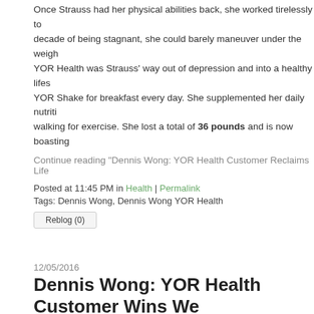Once Strauss had her physical abilities back, she worked tirelessly to... decade of being stagnant, she could barely maneuver under the weigh... YOR Health was Strauss' way out of depression and into a healthy lifes... YOR Shake for breakfast every day. She supplemented her daily nutriti... walking for exercise. She lost a total of 36 pounds and is now boasting...
Continue reading "Dennis Wong: YOR Health Customer Reclaims Life..."
Posted at 11:45 PM in Health | Permalink
Tags: Dennis Wong, Dennis Wong YOR Health
Reblog (0)
12/05/2016
Dennis Wong: YOR Health Customer Wins We...
[Figure (photo): A woman in a black sports bra and shorts posing for a before/after weight loss photo, hands on hips, looking at camera.]